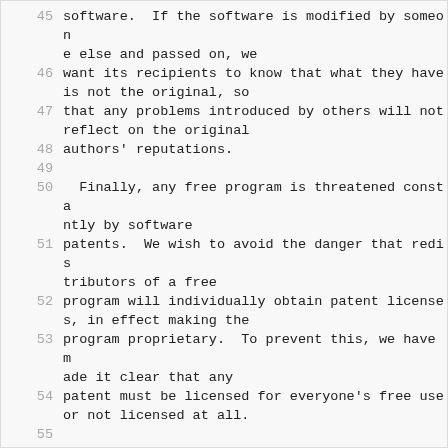45  software.  If the software is modified by someone else and passed on, we
46  want its recipients to know that what they have is not the original, so
47  that any problems introduced by others will not reflect on the original
48  authors' reputations.
49
50    Finally, any free program is threatened constantly by software
51  patents.  We wish to avoid the danger that redistributors of a free
52  program will individually obtain patent licenses, in effect making the
53  program proprietary.  To prevent this, we have made it clear that any
54  patent must be licensed for everyone's free use or not licensed at all.
55
56    The precise terms and conditions for copying, distribution and
57  modification follow.
58